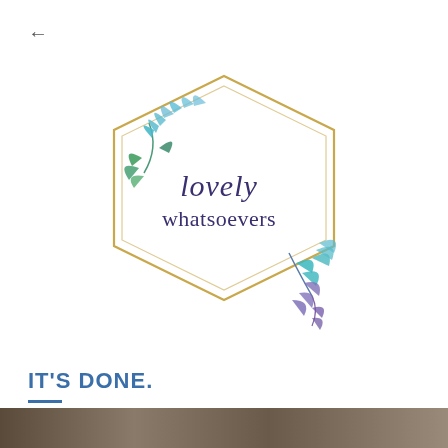←
[Figure (logo): Lovely Whatsoevers logo: a gold geometric hexagon frame decorated with watercolor botanical leaves in teal, green and purple, with the script text 'lovely' above and 'whatsoevers' below in dark purple/navy serif font]
IT'S DONE.
[Figure (photo): Bottom strip showing a partial photo with dark textured surface, possibly stone or gravel]